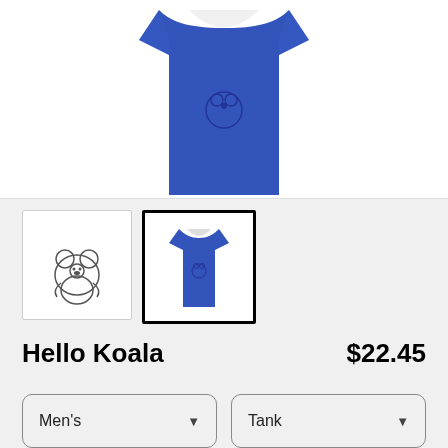[Figure (photo): Blue tank top shirt product image on white background]
[Figure (photo): Small thumbnail of koala line drawing on white background]
[Figure (photo): Small thumbnail of blue tank top, selected with black border]
Hello Koala
$22.45
Men's
Tank
SELECT YOUR FIT
$22.45
Regular
$22.45
Triblend